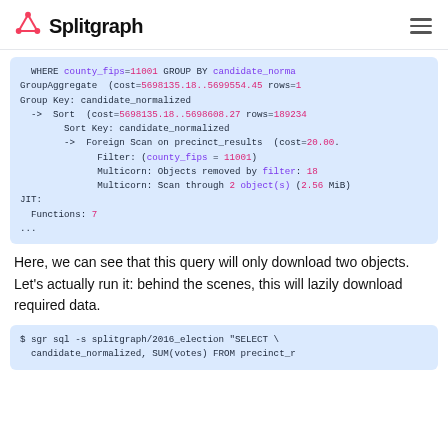Splitgraph
[Figure (screenshot): Code block showing query plan output with GroupAggregate, Sort, Foreign Scan on precinct_results, Filter, Multicorn scan info, JIT functions count, and ellipsis.]
Here, we can see that this query will only download two objects. Let's actually run it: behind the scenes, this will lazily download required data.
[Figure (screenshot): Code block showing: $ sgr sql -s splitgraph/2016_election "SELECT \ candidate_normalized, SUM(votes) FROM precinct_r...]